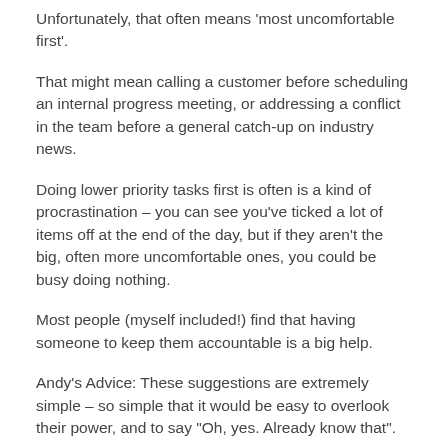Unfortunately, that often means 'most uncomfortable first'.
That might mean calling a customer before scheduling an internal progress meeting, or addressing a conflict in the team before a general catch-up on industry news.
Doing lower priority tasks first is often is a kind of procrastination – you can see you've ticked a lot of items off at the end of the day, but if they aren't the big, often more uncomfortable ones, you could be busy doing nothing.
Most people (myself included!) find that having someone to keep them accountable is a big help.
Andy's Advice: These suggestions are extremely simple – so simple that it would be easy to overlook their power, and to say "Oh, yes. Already know that".